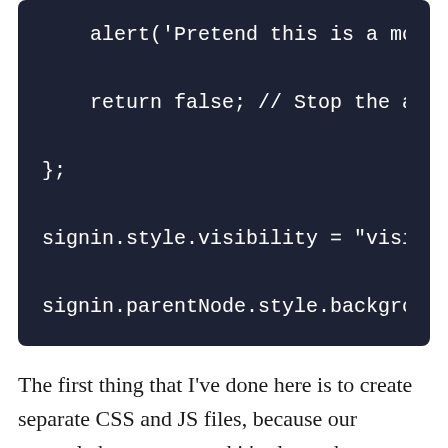[Figure (screenshot): Dark-themed code editor screenshot showing JavaScript code: alert('Pretend this is a modal po[p-up]'), return false; // Stop the anchor'[s], }; , signin.style.visibility = "visible", signin.parentNode.style.background =]
The first thing that I've done here is to create separate CSS and JS files, because our example has grown, and it's always better to keep CSS and